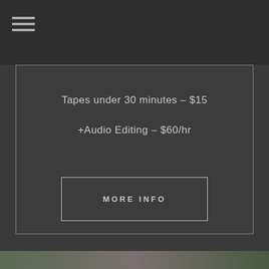[Figure (other): Hamburger menu icon (three horizontal lines) in top-left corner]
Tapes under 30 minutes – $15
+Audio Editing – $60/hr
MORE INFO